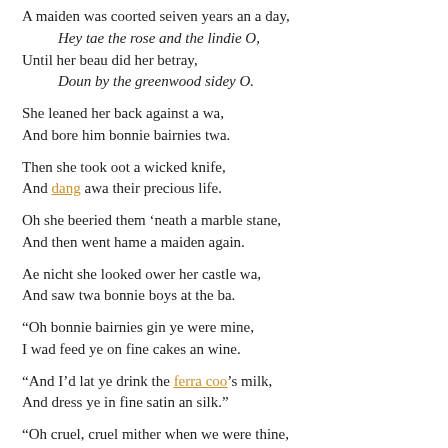A maiden was coorted seiven years an a day,
    Hey tae the rose and the lindie O,
Until her beau did her betray,
    Doun by the greenwood sidey O.
She leaned her back against a wa,
And bore him bonnie bairnies twa.
Then she took oot a wicked knife,
And dang awa their precious life.
Oh she beeried them ‘neath a marble stane,
And then went hame a maiden again.
Ae nicht she looked ower her castle wa,
And saw twa bonnie boys at the ba.
“Oh bonnie bairnies gin ye were mine,
I wad feed ye on fine cakes an wine.
“And I’d lat ye drink the ferra coo’s milk,
And dress ye in fine satin an silk.”
“Oh cruel, cruel mither when we were thine,
We didna feed on cakes an wine.
“Nor did we drink on the ferra coo’s milk,
Nor did we wear in satin an silk.